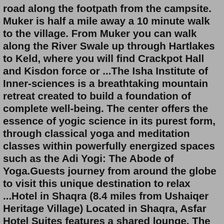road along the footpath from the campsite. Muker is half a mile away a 10 minute walk to the village. From Muker you can walk along the River Swale up through Hartlakes to Keld, where you will find Crackpot Hall and Kisdon force or ...The Isha Institute of Inner-sciences is a breathtaking mountain retreat created to build a foundation of complete well-being. The center offers the essence of yogic science in its purest form, through classical yoga and meditation classes within powerfully energized spaces such as the Adi Yogi: The Abode of Yoga.Guests journey from around the globe to visit this unique destination to relax ...Hotel in Shaqra (8.4 miles from Ushaiqer Heritage Village) Located in Shaqra, Asfar Hotel Suites features a shared lounge. The property provides a 24-hour front desk, a shuttle service, room service and free WiFi throughout the property.Kay HitEm Usha village official · February 2 · how do i book reservations to the village i want to go just don't know where pls help. 1. Lester Williams ... Usha Village. an alternative medicine and natural healing